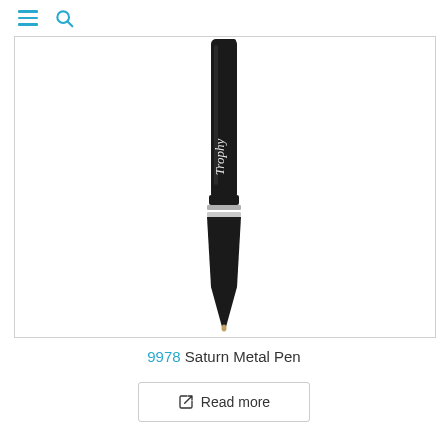☰ 🔍
[Figure (photo): A black Saturn Metal Pen shown vertically, with white script 'Trophy' text on the barrel, silver double ring accent near the bottom, and a silver ballpoint tip. White background.]
9978 Saturn Metal Pen
➡ Read more